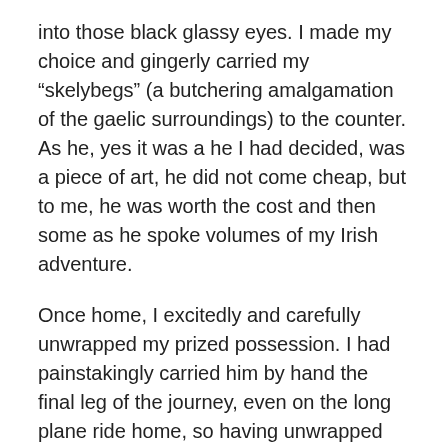into those black glassy eyes. I made my choice and gingerly carried my “skelybegs” (a butchering amalgamation of the gaelic surroundings) to the counter. As he, yes it was a he I had decided, was a piece of art, he did not come cheap, but to me, he was worth the cost and then some as he spoke volumes of my Irish adventure.
Once home, I excitedly and carefully unwrapped my prized possession. I had painstakingly carried him by hand the final leg of the journey, even on the long plane ride home, so having unwrapped him and seeing he was in one piece, I breathed a huge sigh of relief.
I then lovingly placed my little sheep on the counter in the kitchen right next to one of my favorite Russian Icons of Jesus…as it only seemed fitting to have the sheep by the Shepherd.